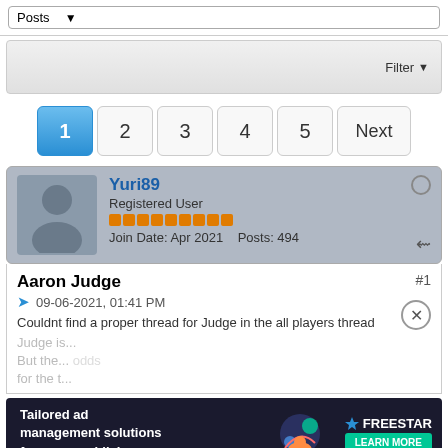Posts ▼
Filter ▼
1 2 3 4 5 Next
Yuri89
Registered User
Join Date: Apr 2021  Posts: 494
Aaron Judge
09-06-2021, 01:41 PM
Couldnt find a proper thread for Judge in the all players thread
Judge is... But the... odds for the...
[Figure (screenshot): Advertisement: Tailored ad management solutions for every publisher — FREESTAR LEARN MORE]
Tags: None